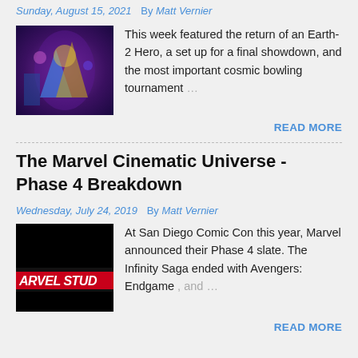Sunday, August 15, 2021   By Matt Vernier
[Figure (photo): Thumbnail image with purple/blue superhero characters on dark background]
This week featured the return of an Earth-2 Hero, a set up for a final showdown, and the most important cosmic bowling tournament …
READ MORE
The Marvel Cinematic Universe - Phase 4 Breakdown
Wednesday, July 24, 2019   By Matt Vernier
[Figure (photo): Marvel Studios logo thumbnail, dark background with partial text ARVEL STUD]
At San Diego Comic Con this year, Marvel announced their Phase 4 slate. The Infinity Saga ended with Avengers: Endgame , and …
READ MORE